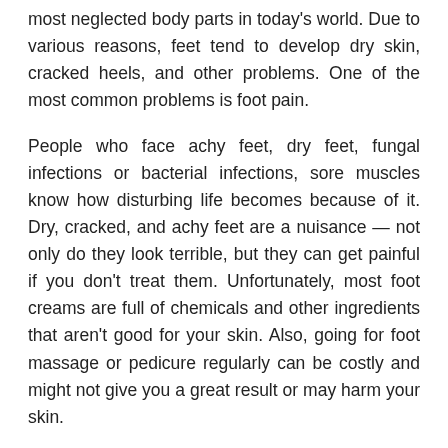most neglected body parts in today's world. Due to various reasons, feet tend to develop dry skin, cracked heels, and other problems. One of the most common problems is foot pain.
People who face achy feet, dry feet, fungal infections or bacterial infections, sore muscles know how disturbing life becomes because of it. Dry, cracked, and achy feet are a nuisance — not only do they look terrible, but they can get painful if you don't treat them. Unfortunately, most foot creams are full of chemicals and other ingredients that aren't good for your skin. Also, going for foot massage or pedicure regularly can be costly and might not give you a great result or may harm your skin.